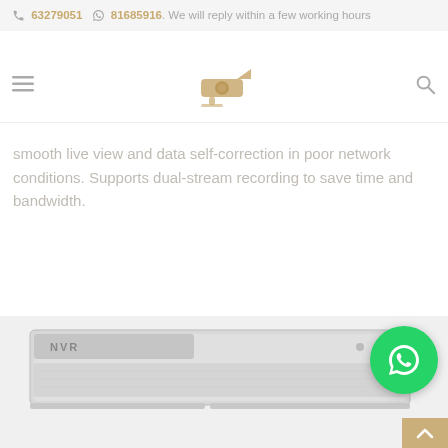63279051  81685916. We will reply within a few working hours
[Figure (logo): CCTV camera logo with camera icon above text cctvcamera.com.sg in gold/tan color]
smooth live view and data self-correction in poor network conditions. Supports dual-stream recording to save time and bandwidth.
[Figure (photo): NVR (Network Video Recorder) device shown from front, gray/silver colored box with NVR label]